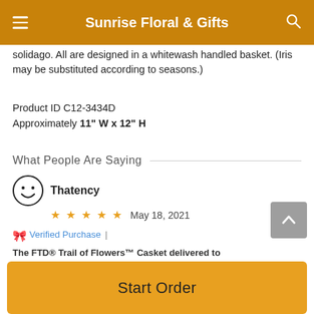Sunrise Floral & Gifts
solidago. All are designed in a whitewash handled basket. (Iris may be substituted according to seasons.)
Product ID C12-3434D
Approximately 11" W x 12" H
What People Are Saying
Thatency
★ ★ ★ ★ ★   May 18, 2021
Verified Purchase  |  The FTD® Trail of Flowers™ Casket delivered to Markham, ON
The flower on the picture has purple flowers but the